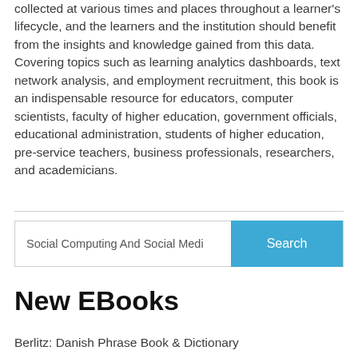collected at various times and places throughout a learner's lifecycle, and the learners and the institution should benefit from the insights and knowledge gained from this data. Covering topics such as learning analytics dashboards, text network analysis, and employment recruitment, this book is an indispensable resource for educators, computer scientists, faculty of higher education, government officials, educational administration, students of higher education, pre-service teachers, business professionals, researchers, and academicians.
[Figure (screenshot): Search bar with text 'Social Computing And Social Medi' and a blue 'Search' button]
New EBooks
Berlitz: Danish Phrase Book & Dictionary